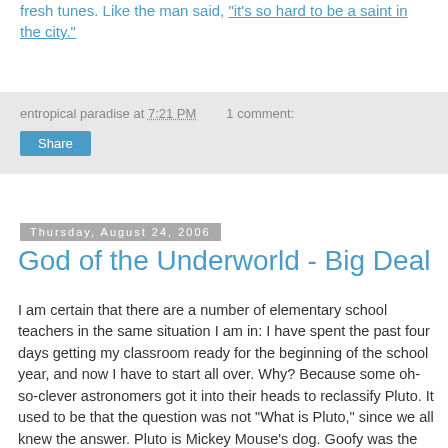fresh tunes. Like the man said, "it's so hard to be a saint in the city."
entropical paradise at 7:21 PM   1 comment:
Share
Thursday, August 24, 2006
God of the Underworld - Big Deal
I am certain that there are a number of elementary school teachers in the same situation I am in: I have spent the past four days getting my classroom ready for the beginning of the school year, and now I have to start all over. Why? Because some oh-so-clever astronomers got it into their heads to reclassify Pluto. It used to be that the question was not "What is Pluto," since we all knew the answer. Pluto is Mickey Mouse's dog. Goofy was the question mark. Well, not anymore. Pluto is now classified as belonging to the much less exclusive club of "dwarf planet." Experts say there could be dozens of dwarf planets catalogued across